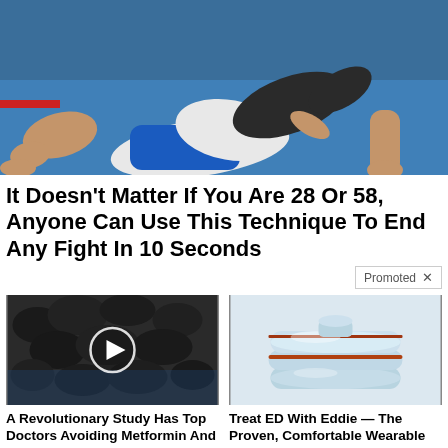[Figure (photo): Two MMA / grappling fighters on a blue mat, one on top applying a hold]
It Doesn't Matter If You Are 28 Or 58, Anyone Can Use This Technique To End Any Fight In 10 Seconds
Promoted X
[Figure (photo): Close-up of dark rocky/coal-like substances with a video play button overlay]
A Revolutionary Study Has Top Doctors Avoiding Metformin And CURING Diabetes
🔥 1,299
[Figure (photo): Light blue wearable ring/band device (Eddie device for ED treatment) on white background]
Treat ED With Eddie — The Proven, Comfortable Wearable That Comes With A Satisfaction Guarantee
🔥 158,568